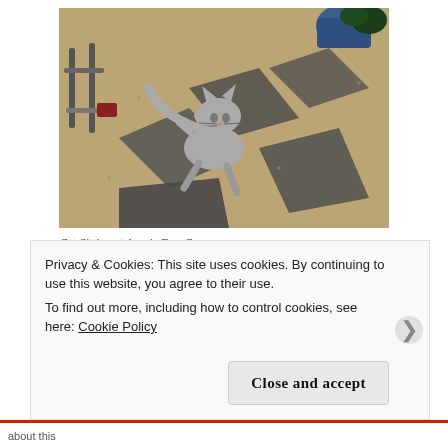[Figure (photo): A fluffy grey cat jumping or leaping in a garden with stepping stones, gravel, and potted plants in the background]
Cat Sitting at Aussie Dog Care.
The local areas I work/ cover in is
Privacy & Cookies: This site uses cookies. By continuing to use this website, you agree to their use.
To find out more, including how to control cookies, see here: Cookie Policy
Close and accept